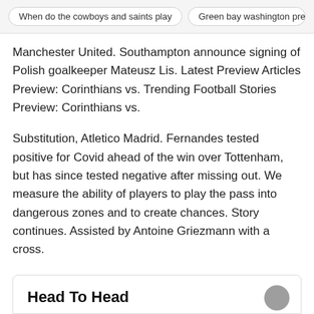When do the cowboys and saints play   Green bay washington predi…
Manchester United. Southampton announce signing of Polish goalkeeper Mateusz Lis. Latest Preview Articles Preview: Corinthians vs. Trending Football Stories Preview: Corinthians vs.
Substitution, Atletico Madrid. Fernandes tested positive for Covid ahead of the win over Tottenham, but has since tested negative after missing out. We measure the ability of players to play the pass into dangerous zones and to create chances. Story continues. Assisted by Antoine Griezmann with a cross.
Angel Correa. Apr 23, They also own rights to the Carabao Cup and several international matches.
Head To Head